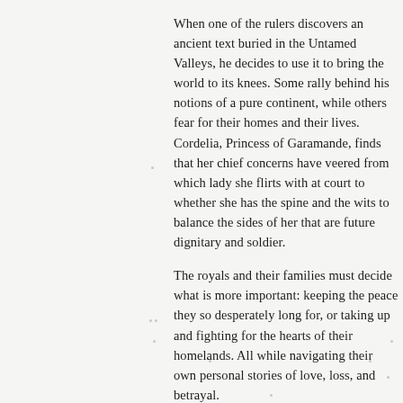When one of the rulers discovers an ancient text buried in the Untamed Valleys, he decides to use it to bring the world to its knees. Some rally behind his notions of a pure continent, while others fear for their homes and their lives. Cordelia, Princess of Garamande, finds that her chief concerns have veered from which lady she flirts with at court to whether she has the spine and the wits to balance the sides of her that are future dignitary and soldier.

The royals and their families must decide what is more important: keeping the peace they so desperately long for, or taking up and fighting for the hearts of their homelands. All while navigating their own personal stories of love, loss, and betrayal.